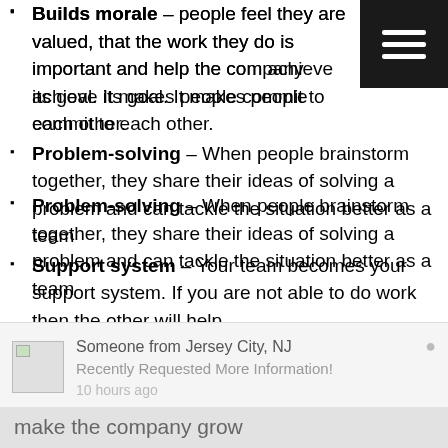Builds morale – people feel they are valued, that the work they do is important and help the company achieve its goal. It makes people commit to each other.
Problem-solving – When people brainstorm together, they share their ideas of solving a problem and can tackle the situation better as a team
Support system – Your team becomes your support system. If you are not able to do work then the other will help.
Frames Company's culture – teamwork develops loyalty among members which shapes the culture of the company. The team becomes a community and they work more effectively towards
[Figure (screenshot): Notification popup bar: 'Someone from Jersey City, NJ Recently Requested More Information! 10 hours ago' with a small image icon and close button]
make the company grow